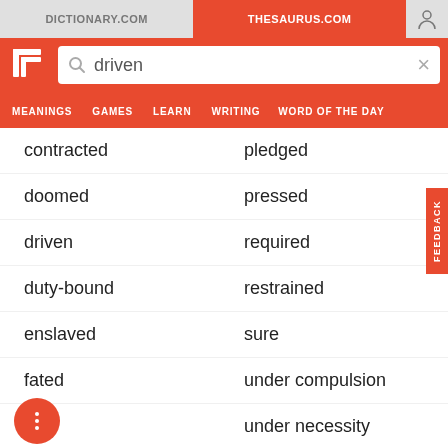DICTIONARY.COM | THESAURUS.COM
driven (search query)
contracted
pledged
doomed
pressed
driven
required
duty-bound
restrained
enslaved
sure
fated
under compulsion
firm
under necessity
forced
urged